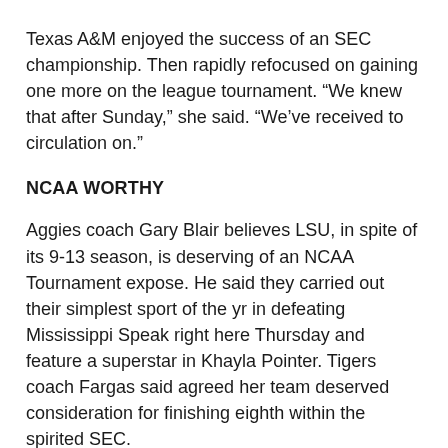Texas A&M enjoyed the success of an SEC championship. Then rapidly refocused on gaining one more on the league tournament. “We knew that after Sunday,” she said. “We’ve received to circulation on.”
NCAA WORTHY
Aggies coach Gary Blair believes LSU, in spite of its 9-13 season, is deserving of an NCAA Tournament expose. He said they carried out their simplest sport of the yr in defeating Mississippi Speak right here Thursday and feature a superstar in Khayla Pointer. Tigers coach Fargas said agreed her team deserved consideration for finishing eighth within the spirited SEC.
UP NEXT
With a shedding listing, LSU’s season is likely over.